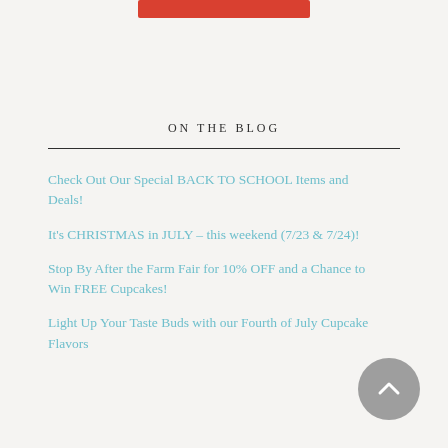[Figure (other): Red rectangular bar at top center of page]
ON THE BLOG
Check Out Our Special BACK TO SCHOOL Items and Deals!
It's CHRISTMAS in JULY – this weekend (7/23 & 7/24)!
Stop By After the Farm Fair for 10% OFF and a Chance to Win FREE Cupcakes!
Light Up Your Taste Buds with our Fourth of July Cupcake Flavors